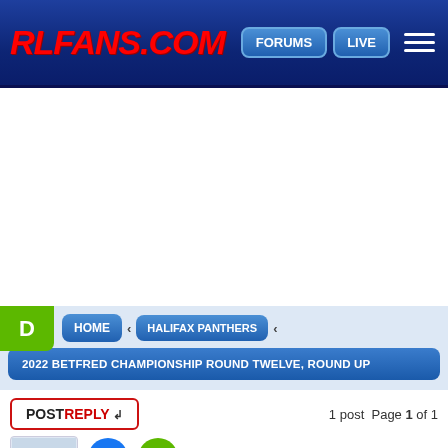RLFANS.COM | FORUMS | LIVE
[Figure (other): White advertisement/content area]
HOME « HALIFAX PANTHERS « 2022 BETFRED CHAMPIONSHIP ROUND TWELVE, ROUND UP
POSTREPLY ↲
1 post Page 1 of 1
[Figure (logo): Halifax Panthers team logo and social share icons at bottom]